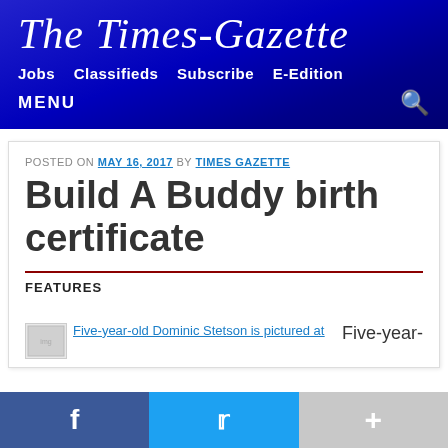The Times-Gazette
Jobs  Classifieds  Subscribe  E-Edition
MENU
POSTED ON MAY 16, 2017 BY TIMES GAZETTE
Build A Buddy birth certificate
FEATURES
Five-year-old Dominic Stetson is pictured at
Five-year-